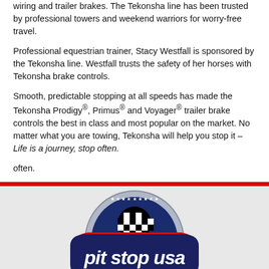wiring and trailer brakes. The Tekonsha line has been trusted by professional towers and weekend warriors for worry-free travel.
Professional equestrian trainer, Stacy Westfall is sponsored by the Tekonsha line. Westfall trusts the safety of her horses with Tekonsha brake controls.
Smooth, predictable stopping at all speeds has made the Tekonsha Prodigy®, Primus® and Voyager® trailer brake controls the best in class and most popular on the market. No matter what you are towing, Tekonsha will help you stop it – Life is a journey, stop often.
often.
[Figure (logo): Pit Stop USA logo: circular badge with checkered flag design, navy blue and red with white italic text reading 'pit stop usa', stars along border]